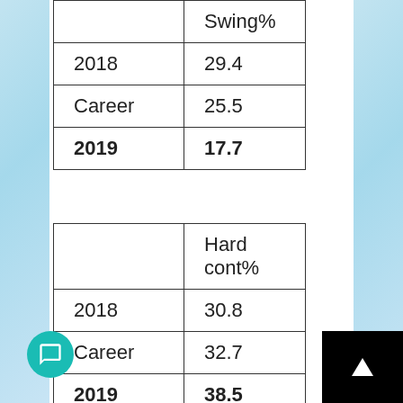|  | Swing% |
| --- | --- |
| 2018 | 29.4 |
| Career | 25.5 |
| 2019 | 17.7 |
|  | Hard cont% |
| --- | --- |
| 2018 | 30.8 |
| Career | 32.7 |
| 2019 | 38.5 |